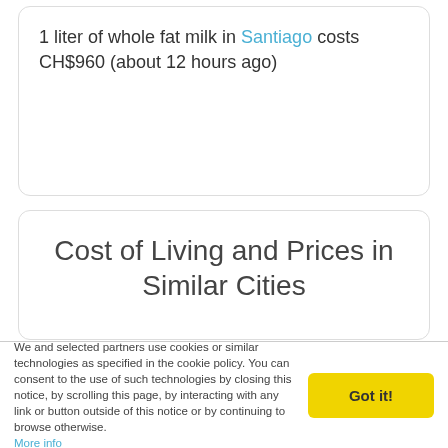1 liter of whole fat milk in Santiago costs CH$960 (about 12 hours ago)
Cost of Living and Prices in Similar Cities
We need your help!
Expatistan is a collaborative effort. The data gets better with every new price that you enter.
Do you know the prices in Dhaka?
Improve the prices for Dhaka!
We and selected partners use cookies or similar technologies as specified in the cookie policy. You can consent to the use of such technologies by closing this notice, by scrolling this page, by interacting with any link or button outside of this notice or by continuing to browse otherwise. More info
Got it!